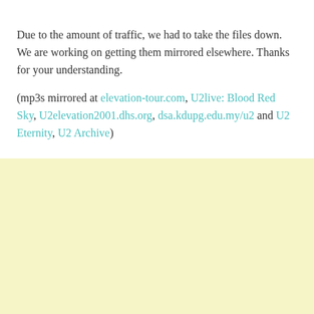Due to the amount of traffic, we had to take the files down. We are working on getting them mirrored elsewhere. Thanks for your understanding.
(mp3s mirrored at elevation-tour.com, U2live: Blood Red Sky, U2elevation2001.dhs.org, dsa.kdupg.edu.my/u2 and U2 Eternity, U2 Archive)